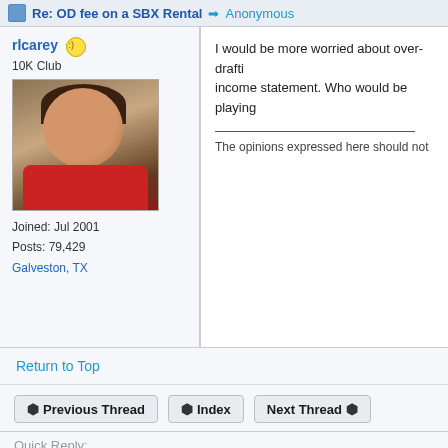Re: OD fee on a SBX Rental → Anonymous
rlcarey 10K Club
Joined: Jul 2001
Posts: 79,429
Galveston, TX
I would be more worried about over-drafti... income statement. Who would be playing
The opinions expressed here should not
Return to Top
Previous Thread   Index   Next Thread
Quick Reply:
HTML is disabled
UBBCode is enabled